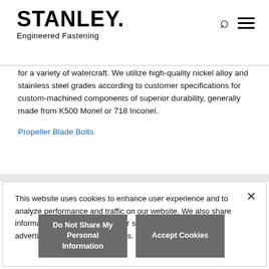STANLEY. Engineered Fastening
for a variety of watercraft. We utilize high-quality nickel alloy and stainless steel grades according to customer specifications for custom-machined components of superior durability, generally made from K500 Monel or 718 Inconel.
Propeller Blade Bolts
This website uses cookies to enhance user experience and to analyze performance and traffic on our website. We also share information about your use of our site with our social media, advertising and analytics partners.
Do Not Share My Personal Information
Accept Cookies